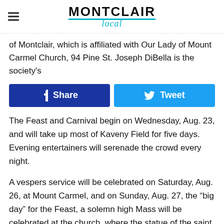MONTCLAIR Local
of Montclair, which is affiliated with Our Lady of Mount Carmel Church, 94 Pine St. Joseph DiBella is the society's
[Figure (other): Social sharing buttons: Facebook Share and Twitter Tweet]
The Feast and Carnival begin on Wednesday, Aug. 23, and will take up most of Kaveny Field for five days. Evening entertainers will serenade the crowd every night.
A vespers service will be celebrated on Saturday, Aug. 26, at Mount Carmel, and on Sunday, Aug. 27, the “big day” for the Feast, a solemn high Mass will be celebrated at the church, where the statue of the saint is kept. At 3:30 p.m. Sunday, the statue will go on procession through the streets of the Fourth Ward, accompanied by bands. The procession ends at Kaveny Field.